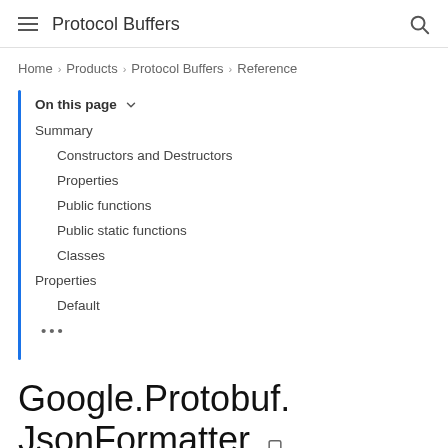Protocol Buffers
Home > Products > Protocol Buffers > Reference
On this page
Summary
Constructors and Destructors
Properties
Public functions
Public static functions
Classes
Properties
Default
...
Google.Protobuf.JsonFormatter